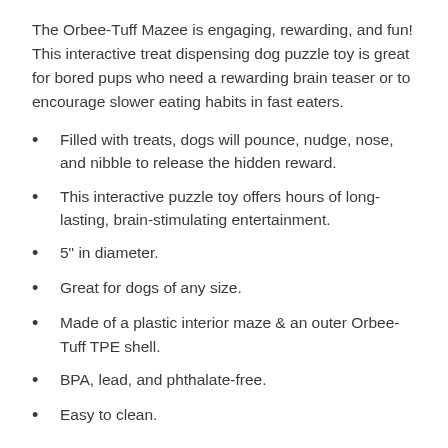The Orbee-Tuff Mazee is engaging, rewarding, and fun! This interactive treat dispensing dog puzzle toy is great for bored pups who need a rewarding brain teaser or to encourage slower eating habits in fast eaters.
Filled with treats, dogs will pounce, nudge, nose, and nibble to release the hidden reward.
This interactive puzzle toy offers hours of long-lasting, brain-stimulating entertainment.
5" in diameter.
Great for dogs of any size.
Made of a plastic interior maze & an outer Orbee-Tuff TPE shell.
BPA, lead, and phthalate-free.
Easy to clean.